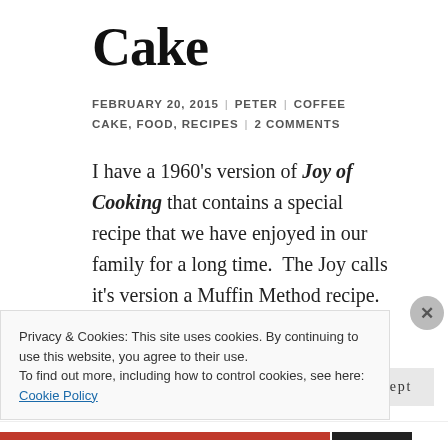Cake
FEBRUARY 20, 2015 | PETER | COFFEE CAKE, FOOD, RECIPES | 2 COMMENTS
I have a 1960’s version of Joy of Cooking that contains a special recipe that we have enjoyed in our family for a long time.  The Joy calls it’s version a Muffin Method recipe.  But this recipe allows you to use a mixer.  It’s an amazing
Privacy & Cookies: This site uses cookies. By continuing to use this website, you agree to their use.
To find out more, including how to control cookies, see here: Cookie Policy
Close and accept